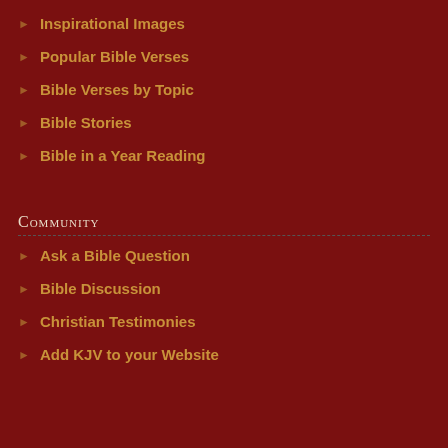Inspirational Images
Popular Bible Verses
Bible Verses by Topic
Bible Stories
Bible in a Year Reading
Community
Ask a Bible Question
Bible Discussion
Christian Testimonies
Add KJV to your Website